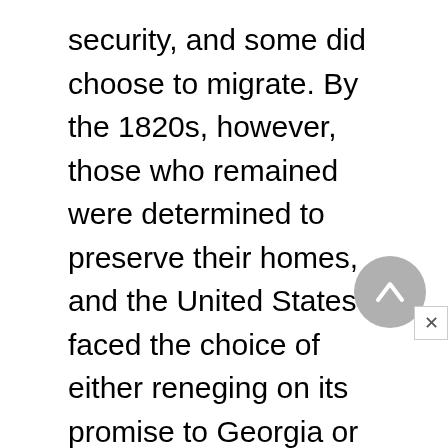security, and some did choose to migrate. By the 1820s, however, those who remained were determined to preserve their homes, and the United States faced the choice of either reneging on its promise to Georgia or violating its treaties with the Cherokees in order to force the tribe out.

The balance in this standoff tipped in Georgia's favor with the presidential election of 1828. Andrew Jackson was